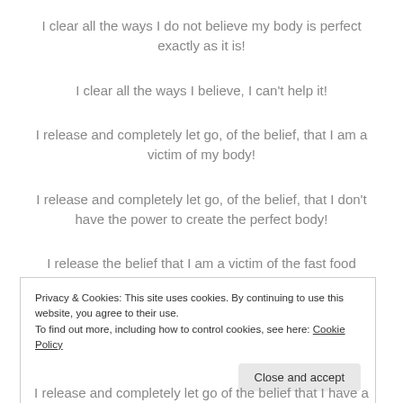I clear all the ways I do not believe my body is perfect exactly as it is!
I clear all the ways I believe, I can't help it!
I release and completely let go, of the belief, that I am a victim of my body!
I release and completely let go, of the belief, that I don't have the power to create the perfect body!
I release the belief that I am a victim of the fast food outlets!
Privacy & Cookies: This site uses cookies. By continuing to use this website, you agree to their use.
To find out more, including how to control cookies, see here: Cookie Policy
I release and completely let go of the belief that I have a